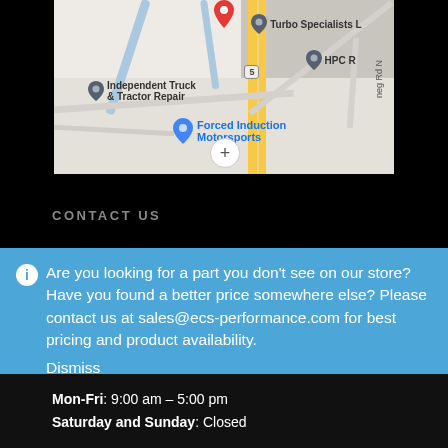[Figure (map): Google Maps screenshot showing location of Forced Induction Motorsports, with nearby businesses including Independent Truck & Tractor Repair, Turbo Specialists, and HPC. Route 5 visible as a yellow road.]
CONTACT US
Are you looking for a part you don't see on our store? Have you found a better price somewhere else? Please contact us at sales@ecs-performance.com for best pricing and product availability.
Dismiss
Mon-Fri: 9:00 am – 5:00 pm
Saturday and Sunday: Closed